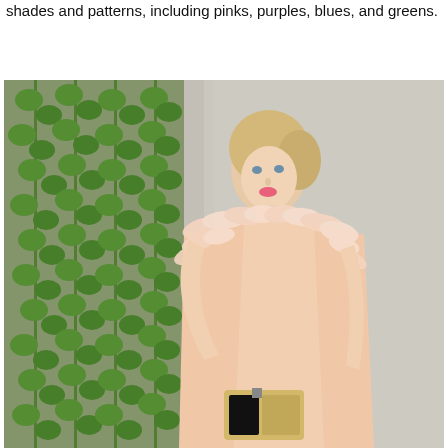shades and patterns, including pinks, purples, blues, and greens.
[Figure (photo): A blonde woman wearing a blush/peach sleeveless midi dress with feather trim across the neckline and shoulders, holding a gold and black clutch bag. She stands in front of a concrete wall with trailing green ivy plants.]